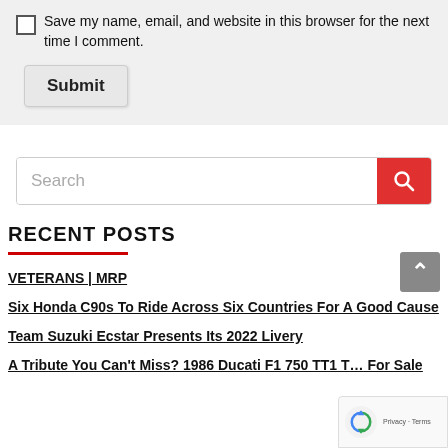Save my name, email, and website in this browser for the next time I comment.
Submit
Search
RECENT POSTS
VETERANS | MRP
Six Honda C90s To Ride Across Six Countries For A Good Cause
Team Suzuki Ecstar Presents Its 2022 Livery
A Tribute You Can't Miss? 1986 Ducati F1 750 TT1 T... For Sale